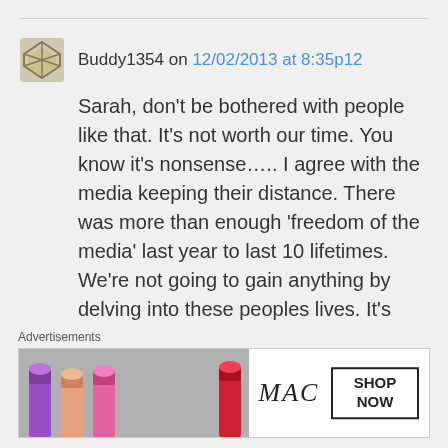Buddy1354 on 12/02/2013 at 8:35p12
Sarah, don't be bothered with people like that. It's not worth our time. You know it's nonsense….. I agree with the media keeping their distance. There was more than enough 'freedom of the media' last year to last 10 lifetimes. We're not going to gain anything by delving into these peoples lives. It's quite frankly none of our business 'how
Advertisements
[Figure (photo): MAC cosmetics advertisement banner showing lipsticks in purple, pink, and red shades with MAC logo and SHOP NOW button]